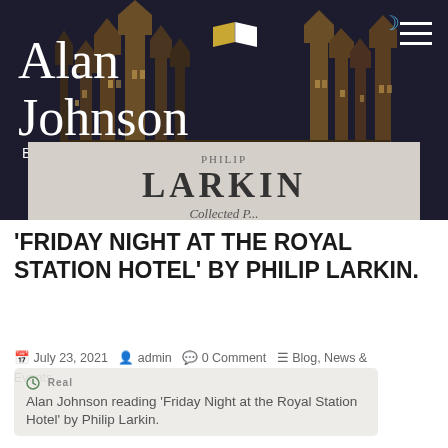[Figure (screenshot): Alan Johnson Books website header with logo over dark background showing gothic architecture (Houses of Parliament), and a book banner showing 'LARKIN' text. Hamburger menu icon and moon icon in top right.]
'FRIDAY NIGHT AT THE ROYAL STATION HOTEL' BY PHILIP LARKIN.
July 23, 2021  admin  0 Comment  Blog, News & Events
Alan Johnson reading 'Friday Night at the Royal Station Hotel' by Philip Larkin.